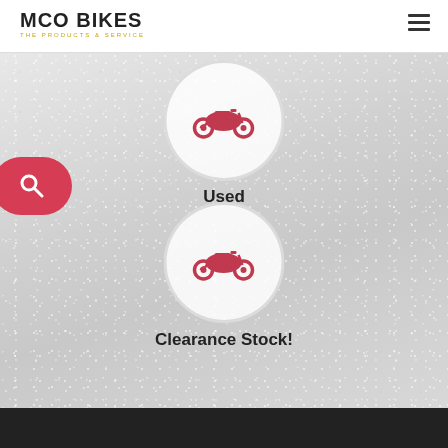MCO BIKES
[Figure (illustration): Red motorcycle icon inside a white circle on a gray textured background, labeled 'Used']
Used
[Figure (illustration): Red motorcycle icon inside a white circle on a gray textured background, labeled 'Clearance Stock!']
Clearance Stock!